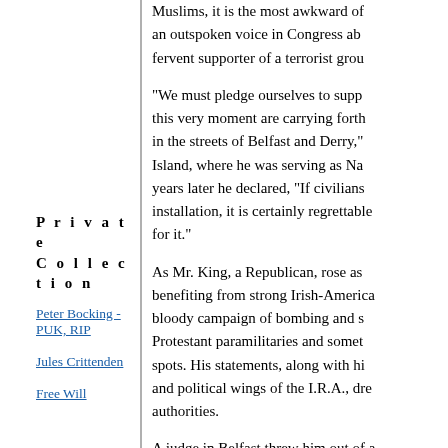Muslims, it is the most awkward of … an outspoken voice in Congress ab… fervent supporter of a terrorist grou…
“We must pledge ourselves to supp… this very moment are carrying forth … in the streets of Belfast and Derry,” … Island, where he was serving as Na… years later he declared, “If civilians … installation, it is certainly regrettable … for it.”
As Mr. King, a Republican, rose as … benefiting from strong Irish-America… bloody campaign of bombing and s… Protestant paramilitaries and somet… spots. His statements, along with hi… and political wings of the I.R.A., dre… authorities.
A judge in Belfast threw him out of a… “obvious collaborator,” said Ed Mold… Secret History of the I.R.A.” In 1984 … Service had investigated him as a “…
In later years, by all accounts, Mr. …
P r i v a t e
C o l l e c t i o n
Peter Bocking - PUK, RIP
Jules Crittenden
Free Will